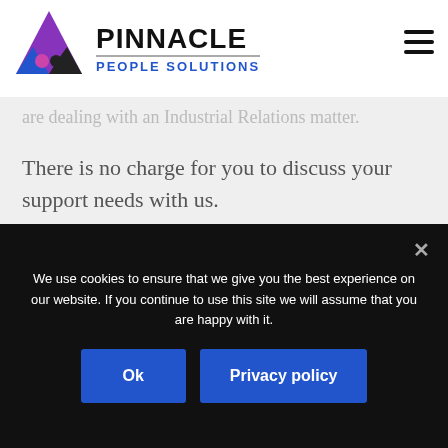[Figure (logo): Pinnacle People Solutions logo with purple/blue/dark triangle puzzle piece icon and bold text]
are dealing with an Industrial Relations matter.
There is no charge for you to discuss your support needs with us.
We use cookies to ensure that we give you the best experience on our website. If you continue to use this site we will assume that you are happy with it.